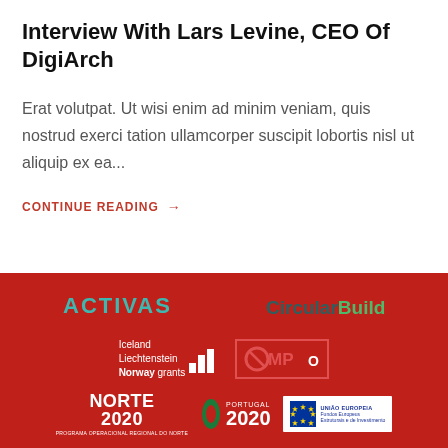Interview With Lars Levine, CEO Of DigiArch
Erat volutpat. Ut wisi enim ad minim veniam, quis nostrud exerci tation ullamcorper suscipit lobortis nisl ut aliquip ex ea...
CONTINUE READING →
[Figure (logo): Footer section on red background containing partner logos: ACTIVAS, CircularBuild, Iceland Liechtenstein Norway grants, COMP logo, Norte 2020, Portugal 2020, EU Fundos Europeus logo]